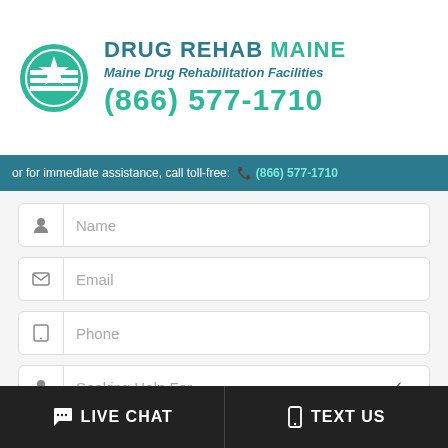[Figure (logo): Drug Rehab Maine logo with teal circle containing star and stripes icon, site name DRUG REHAB MAINE, subtitle Maine Drug Rehabilitation Facilities, phone (866) 577-1710]
or for immediate assistance, call toll-free: ☎ (866) 577-1710
[Figure (screenshot): Web contact form with fields: Name, Email, Phone, Seeking Help For (dropdown), and textarea 'Briefly describe the general situation']
💬 LIVE CHAT
📱 TEXT US